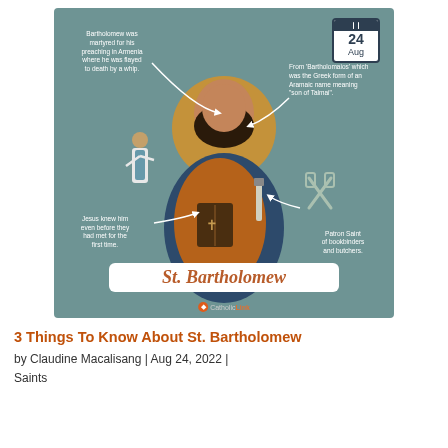[Figure (infographic): Infographic about St. Bartholomew on a teal/muted green background. Features an illustrated figure of St. Bartholomew holding a Bible and a knife, surrounded by four text annotations with arrows: top-left about his martyrdom in Armenia, top-right about the meaning of his name from Greek/Aramaic, bottom-left about Jesus knowing him before they met, bottom-right about him being Patron Saint of bookbinders and butchers. A calendar icon shows Aug 24 in the top-right corner. A white banner at the bottom reads 'St. Bartholomew' in orange italic script. CatholicLink logo at bottom center.]
3 Things To Know About St. Bartholomew
by Claudine Macalisang | Aug 24, 2022 | Saints